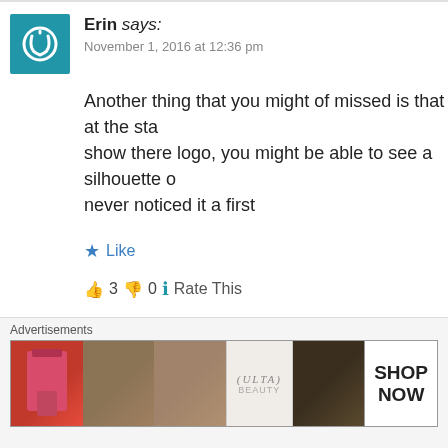Erin says: November 1, 2016 at 12:36 pm
Another thing that you might of missed is that at the start of the show there logo, you might be able to see a silhouette of... never noticed it a first
Like
👍 3 👎 0 ℹ Rate This
Reply
Night fury friend says: November 7, 2016 at 3:57 pm
Advertisements
[Figure (illustration): Advertisement banner for ULTA Beauty showing makeup imagery with SHOP NOW call to action]